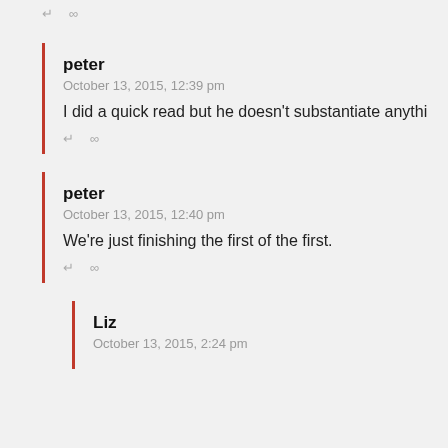↵  ∞
peter
October 13, 2015, 12:39 pm
I did a quick read but he doesn't substantiate anythi
↵  ∞
peter
October 13, 2015, 12:40 pm
We're just finishing the first of the first.
↵  ∞
Liz
October 13, 2015, 2:24 pm